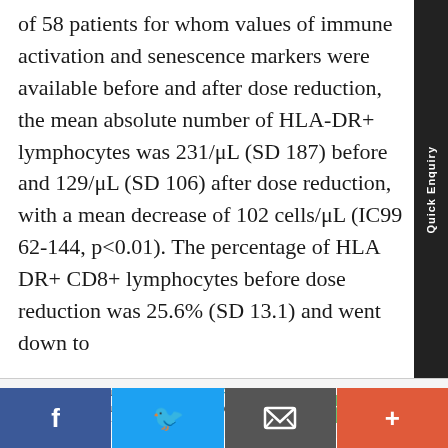of 58 patients for whom values of immune activation and senescence markers were available before and after dose reduction, the mean absolute number of HLA-DR+ lymphocytes was 231/μL (SD 187) before and 129/μL (SD 106) after dose reduction, with a mean decrease of 102 cells/μL (IC99 62-144, p<0.01). The percentage of HLA DR+ CD8+ lymphocytes before dose reduction was 25.6% (SD 13.1) and went down to
Submit your next article Peertechz Publications, also join of our fulfilled creators.
[Figure (infographic): Social share bar with Facebook, Twitter, Email, and Plus buttons at the bottom of the page]